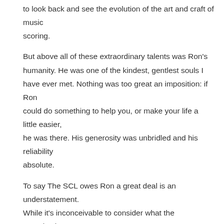to look back and see the evolution of the art and craft of music scoring.

But above all of these extraordinary talents was Ron's humanity. He was one of the kindest, gentlest souls I have ever met. Nothing was too great an imposition: if Ron could do something to help you, or make your life a little easier, he was there. His generosity was unbridled and his reliability absolute.

To say The SCL owes Ron a great deal is an understatement. While it's inconceivable to consider what the organization would be had Ron not been part of it, it is impossible to imagine it without his presence.

However, knowing Ron, he would not want us to dwell too long on his passing but rather be grateful he was able give something to a community he loved so dearly.

Farewell, my friend. We are all better people for having